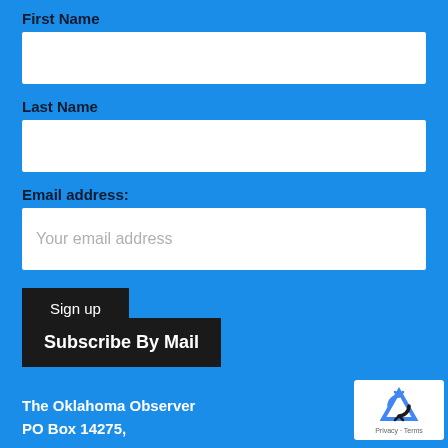First Name
Last Name
Email address:
Your email address
Sign up
Subscribe By Mail
The Oklahoma Observer
PO Box 14275,